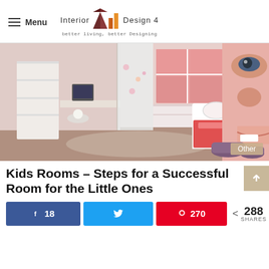Menu | Interior Design 4 — better living, better Designing
[Figure (photo): A girl's bedroom with pink storage cabinets, a white ornate bed frame, a desk with computer, shelving unit, and a large mural of a child's face on the right wall. Badge reading 'Other' in lower right corner.]
Kids Rooms – Steps for a Successful Room for the Little Ones
18 (Facebook shares) | Twitter share | 270 (Pinterest shares) | 288 SHARES